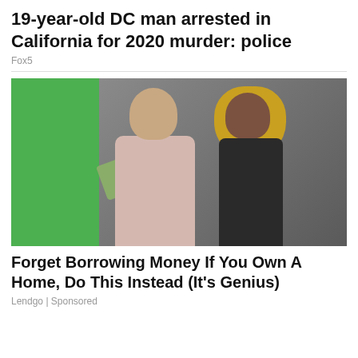19-year-old DC man arrested in California for 2020 murder: police
Fox5
[Figure (photo): A bald bearded man holding a fan of dollar bills with a woman with curly blonde hair leaning on his shoulder, standing in front of a green wall and gray background.]
Forget Borrowing Money If You Own A Home, Do This Instead (It's Genius)
Lendgo | Sponsored